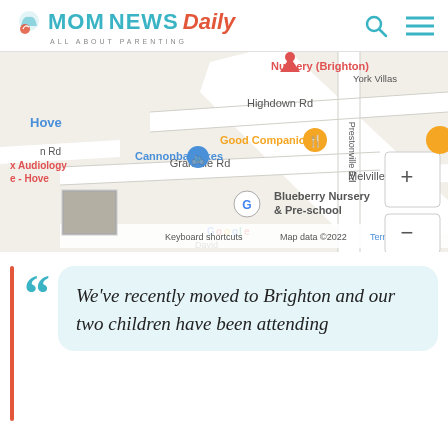MOM NEWS Daily — ALL ABOUT PARENTING
[Figure (map): Google Maps screenshot showing area around Blueberry Nursery & Pre-school in Brighton/Hove area, with road names including Highdown Rd, Granville Rd, Melville Rd, Prestonville Rd, and landmarks including Good Companions, Cannonballbikes, and Blueberry Nursery & Pre-school. Map data ©2022.]
We've recently moved to Brighton and our two children have been attending